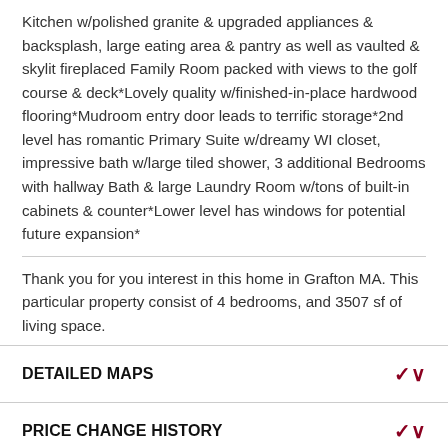Kitchen w/polished granite & upgraded appliances & backsplash, large eating area & pantry as well as vaulted & skylit fireplaced Family Room packed with views to the golf course & deck*Lovely quality w/finished-in-place hardwood flooring*Mudroom entry door leads to terrific storage*2nd level has romantic Primary Suite w/dreamy WI closet, impressive bath w/large tiled shower, 3 additional Bedrooms with hallway Bath & large Laundry Room w/tons of built-in cabinets & counter*Lower level has windows for potential future expansion*
Thank you for you interest in this home in Grafton MA. This particular property consist of 4 bedrooms, and 3507 sf of living space.
DETAILED MAPS
PRICE CHANGE HISTORY